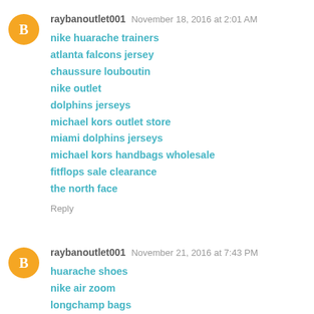raybanoutlet001  November 18, 2016 at 2:01 AM
nike huarache trainers
atlanta falcons jersey
chaussure louboutin
nike outlet
dolphins jerseys
michael kors outlet store
miami dolphins jerseys
michael kors handbags wholesale
fitflops sale clearance
the north face
Reply
raybanoutlet001  November 21, 2016 at 7:43 PM
huarache shoes
nike air zoom
longchamp bags
oakley sunglasses,oakley outlet sunglasses
adidas nmd